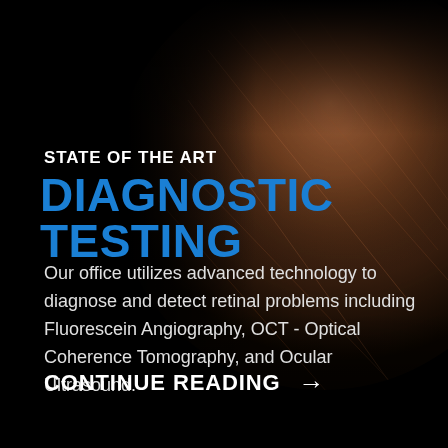[Figure (photo): Close-up retinal fundus photograph showing the eye in brownish-red tones, positioned in the upper-right portion of the page against a black background]
STATE OF THE ART
DIAGNOSTIC TESTING
Our office utilizes advanced technology to diagnose and detect retinal problems including Fluorescein Angiography, OCT - Optical Coherence Tomography, and Ocular Ultrasound.
CONTINUE READING →